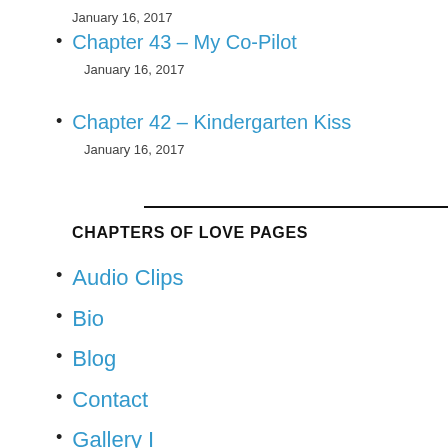January 16, 2017
Chapter 43 – My Co-Pilot
January 16, 2017
Chapter 42 – Kindergarten Kiss
January 16, 2017
CHAPTERS OF LOVE PAGES
Audio Clips
Bio
Blog
Contact
Gallery I
Gallery II